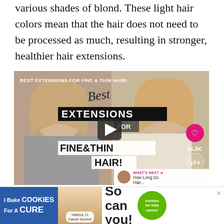various shades of blond. These light hair colors mean that the hair does not need to be processed as much, resulting in stronger, healthier hair extensions.
[Figure (screenshot): Video thumbnail showing a YouTube-style video player titled 'BEST EXTENSIONS FOR FINE & THIN HAIR!' featuring two women with blond hair. The video has a play button in the center, a heart icon showing, a share icon, 16.3K count, and a 'What's Next' panel showing 'How Long Do Hair...']
In this video, Julia Havens, who has fine,
[Figure (infographic): Advertisement banner: 'I Bake COOKIES For A CURE' with Haldora, 11 Cancer Survivor, and green badge reading 'cookies for kids cancer', with text 'So can you!']